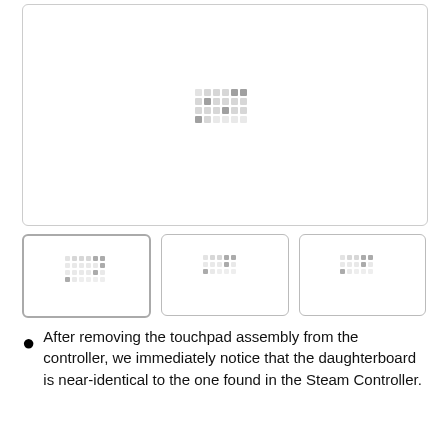[Figure (photo): Main large image placeholder with loading dot pattern icon in the center, displayed in a rounded rectangle box with light gray border.]
[Figure (photo): Thumbnail image 1 (active/selected) with loading dot pattern, rounded rectangle with gray border.]
[Figure (photo): Thumbnail image 2 with loading dot pattern, rounded rectangle with gray border.]
[Figure (photo): Thumbnail image 3 with loading dot pattern, rounded rectangle with gray border.]
After removing the touchpad assembly from the controller, we immediately notice that the daughterboard is near-identical to the one found in the Steam Controller.